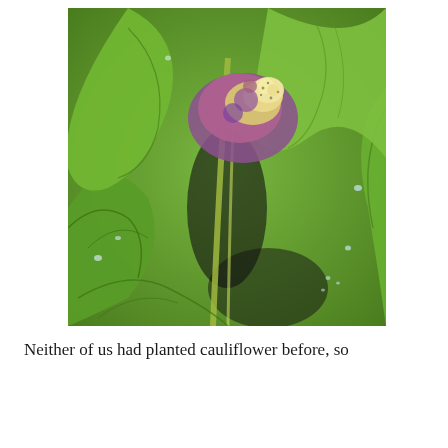[Figure (photo): Close-up photograph of a cauliflower plant head with purple and cream-colored florets visible at the center, surrounded by large green leaves with water droplets on them. The plant appears diseased or damaged with irregular coloring.]
Neither of us had planted cauliflower before, so